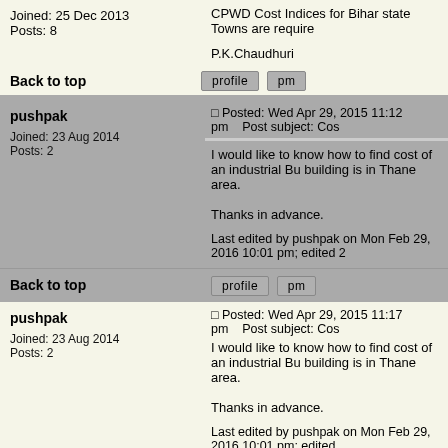CPWD Cost Indices for Bihar state Towns are required
P.K.Chaudhuri
Joined: 25 Dec 2013
Posts: 8
Back to top
pushpak
Posted: Wed Apr 29, 2015 11:12 pm    Post subject: Cos
Joined: 23 Aug 2014
Posts: 2
I would like to know how to find cost of an industrial Bu building is in Thane area.

Thanks in advance.
Last edited by pushpak on Mon Feb 29, 2016 10:01 pm; edited 2
Back to top
pushpak
Posted: Wed Apr 29, 2015 11:17 pm    Post subject: Cos
Joined: 23 Aug 2014
Posts: 2
I would like to know how to find cost of an industrial Bu building is in Thane area.

Thanks in advance.
Last edited by pushpak on Mon Feb 29, 2016 10:01 pm; edited